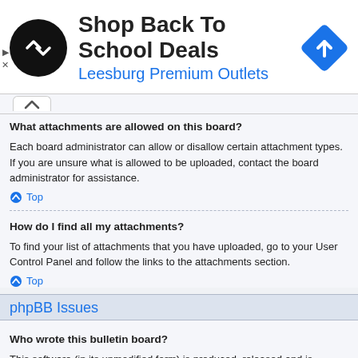[Figure (advertisement): Ad banner for Leesburg Premium Outlets - Shop Back To School Deals, with black circular logo with white arrows, and blue diamond navigation icon]
What attachments are allowed on this board?
Each board administrator can allow or disallow certain attachment types. If you are unsure what is allowed to be uploaded, contact the board administrator for assistance.
↑ Top
How do I find all my attachments?
To find your list of attachments that you have uploaded, go to your User Control Panel and follow the links to the attachments section.
↑ Top
phpBB Issues
Who wrote this bulletin board?
This software (in its unmodified form) is produced, released and is copyright phpBB Limited. It is made available under the GNU General Public License, version 2 (GPL-2.0) and may be freely distributed. See About phpBB for more